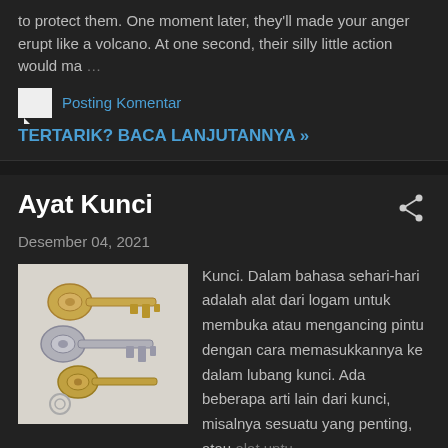to protect them. One moment later, they'll made your anger erupt like a volcano. At one second, their silly little action would ma …
Posting Komentar
TERTARIK? BACA LANJUTANNYA »
Ayat Kunci
Desember 04, 2021
[Figure (photo): Photo of a set of metal keys on a light background]
Kunci. Dalam bahasa sehari-hari adalah alat dari logam untuk membuka atau mengancing pintu dengan cara memasukkannya ke dalam lubang kunci. Ada beberapa arti lain dari kunci, misalnya sesuatu yang penting, atau alat untu …
Posting Komentar